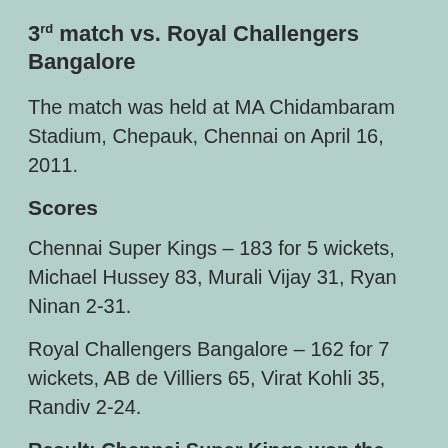3rd match vs. Royal Challengers Bangalore
The match was held at MA Chidambaram Stadium, Chepauk, Chennai on April 16, 2011.
Scores
Chennai Super Kings – 183 for 5 wickets, Michael Hussey 83, Murali Vijay 31, Ryan Ninan 2-31.
Royal Challengers Bangalore – 162 for 7 wickets, AB de Villiers 65, Virat Kohli 35, Randiv 2-24.
Result: Chennai Super Kings won the match.